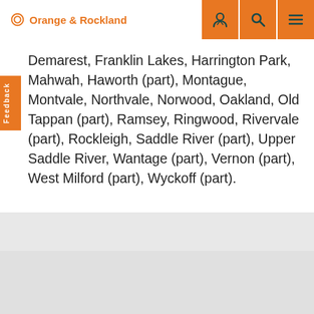Orange & Rockland
Demarest, Franklin Lakes, Harrington Park, Mahwah, Haworth (part), Montague, Montvale, Northvale, Norwood, Oakland, Old Tappan (part), Ramsey, Ringwood, Rivervale (part), Rockleigh, Saddle River (part), Upper Saddle River, Wantage (part), Vernon (part), West Milford (part), Wyckoff (part).